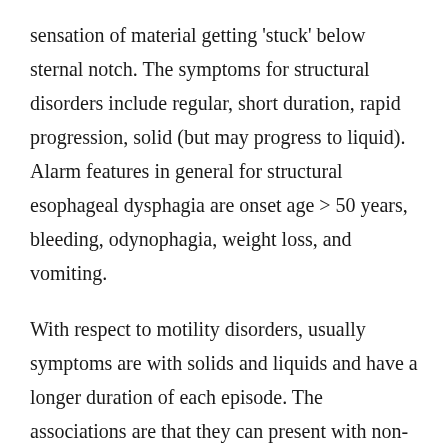sensation of material getting 'stuck' below sternal notch. The symptoms for structural disorders include regular, short duration, rapid progression, solid (but may progress to liquid). Alarm features in general for structural esophageal dysphagia are onset age > 50 years, bleeding, odynophagia, weight loss, and vomiting.
With respect to motility disorders, usually symptoms are with solids and liquids and have a longer duration of each episode. The associations are that they can present with non-cardiac chest pain, diabetes mellitus, or features of connective tissue diseases.
Oropharyngeal dysphagia is often investigated with a